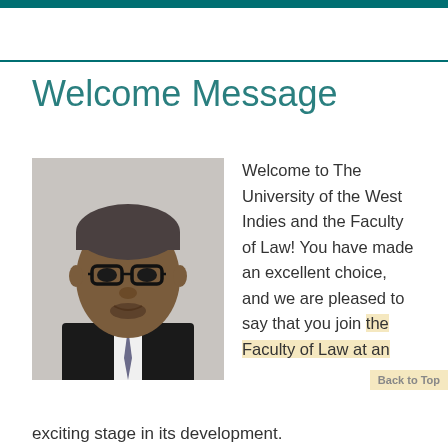Welcome Message
[Figure (photo): Portrait photo of a man in a dark suit and tie with glasses, grey short hair, looking directly at the camera. Light grey background.]
Welcome to The University of the West Indies and the Faculty of Law! You have made an excellent choice, and we are pleased to say that you join the Faculty of Law at an exciting stage in its development.